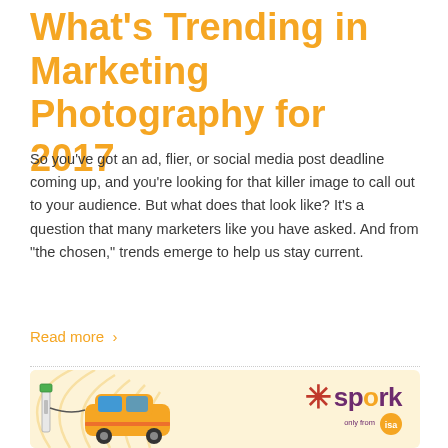What's Trending in Marketing Photography for 2017
So you’ve got an ad, flier, or social media post deadline coming up, and you’re looking for that killer image to call out to your audience. But what does that look like? It’s a question that many marketers like you have asked. And from “the chosen,” trends emerge to help us stay current.
Read more ›
[Figure (illustration): Spark brand image with an electric car charging and the Spark logo on a yellow/cream swirl background]